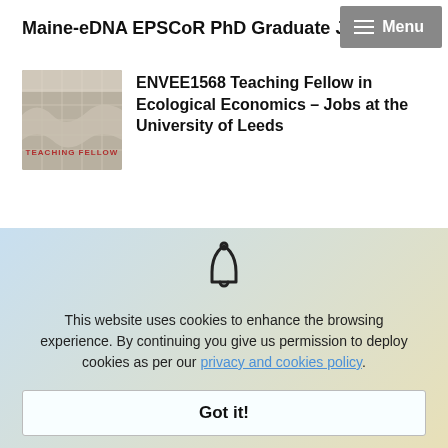Maine-eDNA EPSCoR PhD Graduate Job Posting
[Figure (screenshot): Menu button with three horizontal lines and text 'Menu' on grey background]
[Figure (illustration): Thumbnail image for Teaching Fellow posting - grey background with wavy shape and red text 'TEACHING FELLOW']
ENVEE1568 Teaching Fellow in Ecological Economics – Jobs at the University of Leeds
[Figure (illustration): Thumbnail image for Open Position posting - pink top area with purple lower section showing text 'OPEN POSITION']
Open Position: Michigan Sea Grant Director and Tenured Faculty Position at the University of MIchigan
[Figure (infographic): Cookie consent overlay with bell icon on gradient background (light blue to light yellow)]
This website uses cookies to enhance the browsing experience. By continuing you give us permission to deploy cookies as per our privacy and cookies policy.
Got it!